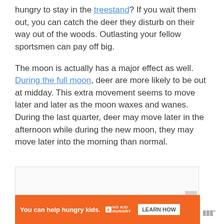hungry to stay in the treestand? If you wait them out, you can catch the deer they disturb on their way out of the woods. Outlasting your fellow sportsmen can pay off big.
The moon is actually has a major effect as well. During the full moon, deer are more likely to be out at midday. This extra movement seems to move later and later as the moon waxes and wanes. During the last quarter, deer may move later in the afternoon while during the new moon, they may move later into the morning than normal.
[Figure (other): Advertisement banner: orange background with text 'You can help hungry kids.' and No Kid Hungry logo with a Learn How button. A close (X) button appears top right. WW logo appears to the right.]